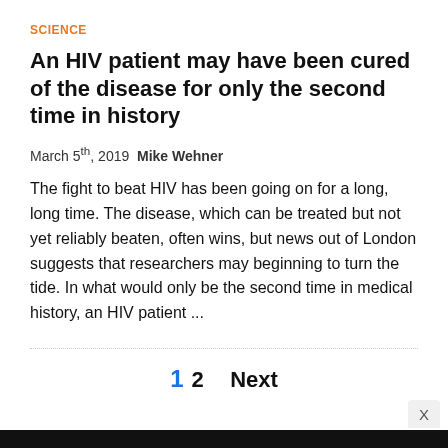SCIENCE
An HIV patient may have been cured of the disease for only the second time in history
March 5th, 2019 Mike Wehner
The fight to beat HIV has been going on for a long, long time. The disease, which can be treated but not yet reliably beaten, often wins, but news out of London suggests that researchers may beginning to turn the tide. In what would only be the second time in medical history, an HIV patient ...
1 2 Next